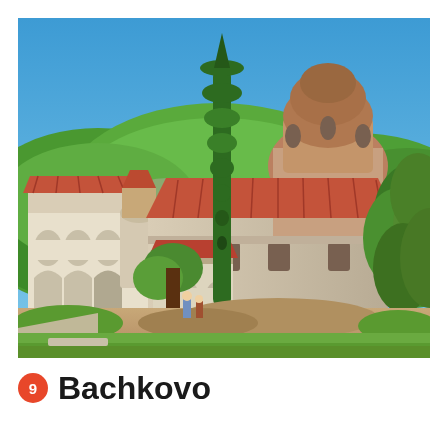[Figure (photo): Photograph of Bachkovo Monastery in Bulgaria. A historic Orthodox Christian monastery with white stone buildings, terracotta-tiled roofs, a large central church with a rounded dome and smaller towers, surrounded by tall cypress and green trees. The background shows green forested mountains under a clear blue sky. The courtyard shows earthen ground with some grass areas.]
9 Bachkovo